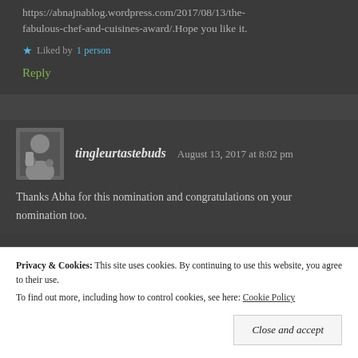https://abnajnablog.wordpress.com/2017/08/13/the-fabulous-chef-and-cuisines-award/.Hope you like it.
Liked by 1 person
Reply
tingleurtastebuds   August 13, 2017 at 8:02 pm
Thanks Abha for this nomination and congratulations on your nomination too.
Privacy & Cookies: This site uses cookies. By continuing to use this website, you agree to their use. To find out more, including how to control cookies, see here: Cookie Policy
Close and accept